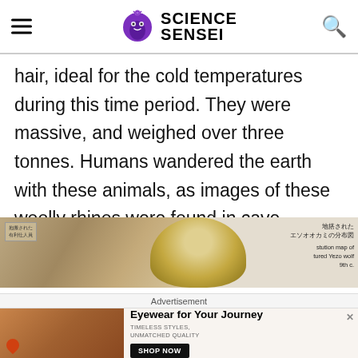SCIENCE SENSEI
hair, ideal for the cold temperatures during this time period. They were massive, and weighed over three tonnes. Humans wandered the earth with these animals, as images of these woolly rhinos were found in cave paintings (Wikipedia).
[Figure (photo): Museum exhibit photo showing a woolly rhinoceros specimen or model, with Japanese text labels visible on the right side reading distribution map information]
Advertisement
[Figure (photo): Advertisement banner for eyewear brand showing two women wearing sunglasses with text 'Eyewear for Your Journey', 'TIMELESS STYLES, UNMATCHED QUALITY', and a 'SHOP NOW' button]